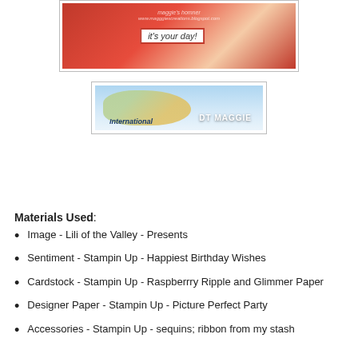[Figure (photo): Handmade birthday card with red decorations and 'it's your day!' sentiment, with watermark text]
[Figure (photo): International DT Maggie banner/badge with globe map design on light blue background]
Materials Used:
Image - Lili of the Valley - Presents
Sentiment - Stampin Up - Happiest Birthday Wishes
Cardstock - Stampin Up - Raspberrry Ripple and Glimmer Paper
Designer Paper - Stampin Up - Picture Perfect Party
Accessories - Stampin Up - sequins; ribbon from my stash